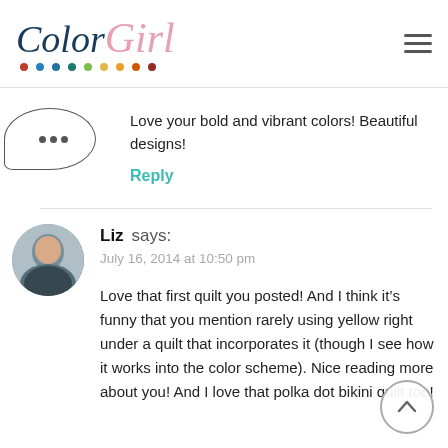ColorGirl [logo with colored dots]
Love your bold and vibrant colors! Beautiful designs!
Reply
Liz says:
July 16, 2014 at 10:50 pm
Love that first quilt you posted! And I think it’s funny that you mention rarely using yellow right under a quilt that incorporates it (though I see how it works into the color scheme). Nice reading more about you! And I love that polka dot bikini quilt too!